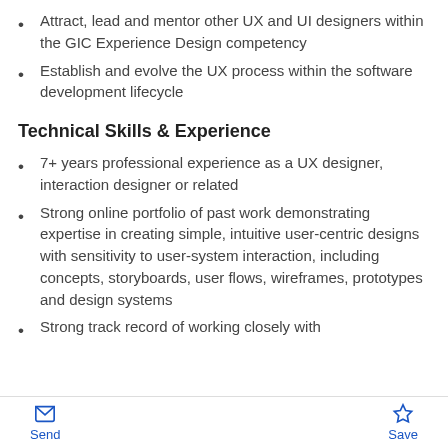Attract, lead and mentor other UX and UI designers within the GIC Experience Design competency
Establish and evolve the UX process within the software development lifecycle
Technical Skills & Experience
7+ years professional experience as a UX designer, interaction designer or related
Strong online portfolio of past work demonstrating expertise in creating simple, intuitive user-centric designs with sensitivity to user-system interaction, including concepts, storyboards, user flows, wireframes, prototypes and design systems
Strong track record of working closely with
Send  Save